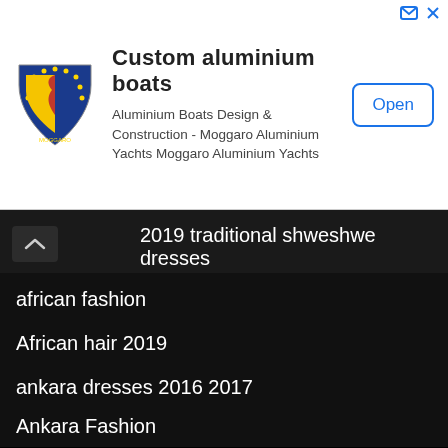[Figure (other): Advertisement banner for Moggaro custom aluminium boats with logo, title, description text, and Open button]
2019 traditional shweshwe dresses
african fashion
African hair 2019
ankara dresses 2016 2017
Ankara Fashion
Bathroom decor 2017
decor
Earrings 2017
Entertainment news sa
Hairstyle 2019